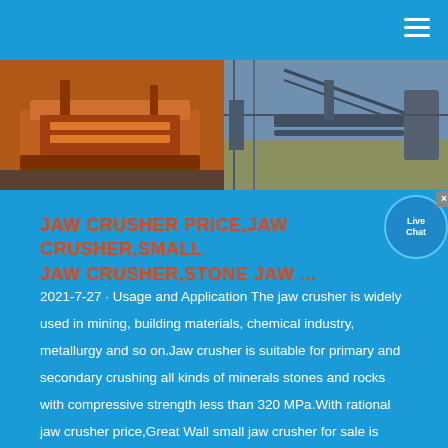[Figure (photo): Two industrial photos side by side: left shows an orange jaw crusher machine in a facility; right shows industrial conveyor/processing equipment outdoors with steel framework.]
JAW CRUSHER PRICE,JAW CRUSHER,SMALL JAW CRUSHER,STONE JAW ...
2021-7-27 · Usage and Application The jaw crusher is widely used in mining, building materials, chemical industry, metallurgy and so on.Jaw crusher is suitable for primary and secondary crushing all kinds of minerals stones and rocks with compressive strength less than 320 MPa.With rational jaw crusher price,Great Wall small jaw crusher for sale is more and more popular.As a mini jaw crusher manufacturer...